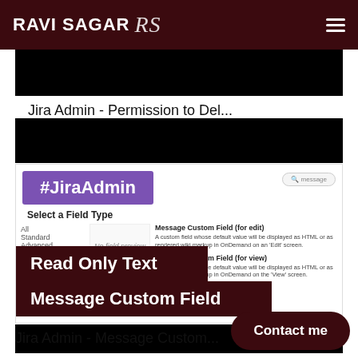RAVI SAGAR RS
[Figure (screenshot): Black image placeholder (top card thumbnail)]
Jira Admin - Permission to Del...
[Figure (screenshot): Black image placeholder (second card thumbnail)]
[Figure (screenshot): Jira Admin screenshot showing #JiraAdmin hashtag, Select a Field Type panel with Message Custom Field (for edit) and Message Custom Field (for view), with Read Only Text and Message Custom Field overlays]
[Figure (screenshot): Black image placeholder (bottom card thumbnail)]
Jira Admin - Message Custom...